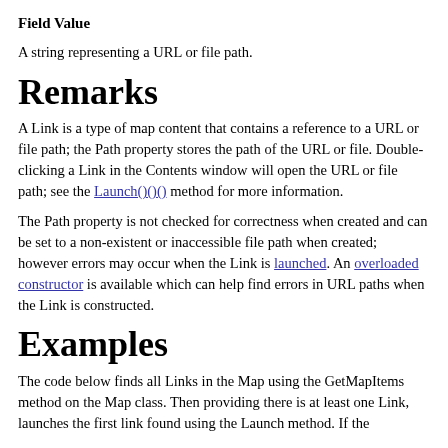Field Value
A string representing a URL or file path.
Remarks
A Link is a type of map content that contains a reference to a URL or file path; the Path property stores the path of the URL or file. Double-clicking a Link in the Contents window will open the URL or file path; see the Launch()()() method for more information.
The Path property is not checked for correctness when created and can be set to a non-existent or inaccessible file path when created; however errors may occur when the Link is launched. An overloaded constructor is available which can help find errors in URL paths when the Link is constructed.
Examples
The code below finds all Links in the Map using the GetMapItems method on the Map class. Then providing there is at least one Link, launches the first link found using the Launch method. If the